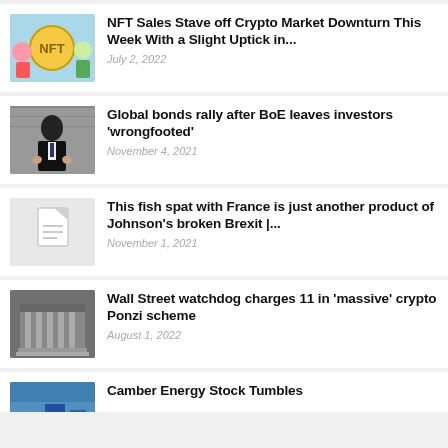[Figure (photo): NFT coin illustration with cartoon characters on blue background]
NFT Sales Stave off Crypto Market Downturn This Week With a Slight Uptick in...
July 2, 2022
[Figure (photo): Man in suit speaking, Bank of England official]
Global bonds rally after BoE leaves investors 'wrongfooted'
November 4, 2021
[Figure (photo): Document placeholder icon]
This fish spat with France is just another product of Johnson's broken Brexit |...
November 1, 2021
[Figure (photo): SEC building exterior]
Wall Street watchdog charges 11 in 'massive' crypto Ponzi scheme
August 1, 2022
[Figure (photo): Camber Energy stock image, partial blue]
Camber Energy Stock Tumbles